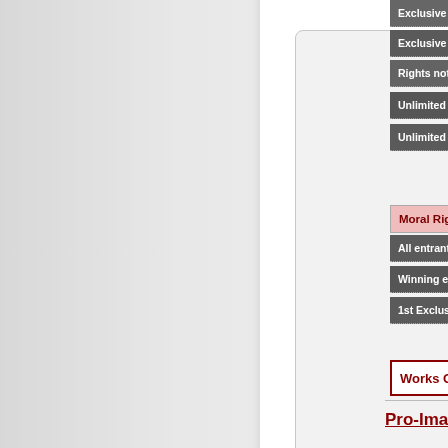Exclusive right cla...
Exclusive right cla...
Rights not stated...
Unlimited rights;
Unlimited rights;
Moral Rights & 1...
All entrants waive...
Winning entrants...
1st Exclusive use...
Works Grabbe...
Pro-Imaging...
Pro-Imaging is ... who a...